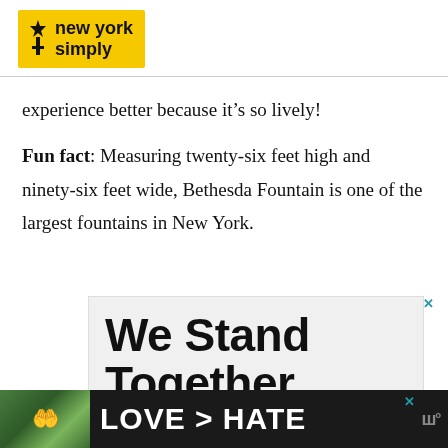[Figure (logo): New York Simply logo — yellow background with stylized torch/statue icon and bold text 'new york simply']
experience better because it’s so lively!
Fun fact: Measuring twenty-six feet high and ninety-six feet wide, Bethesda Fountain is one of the largest fountains in New York.
[Figure (screenshot): Advertisement banner with large bold text 'We Stand Together' on light grey background]
[Figure (screenshot): Advertisement banner with dark background showing hands forming heart shape and text 'LOVE > HATE']